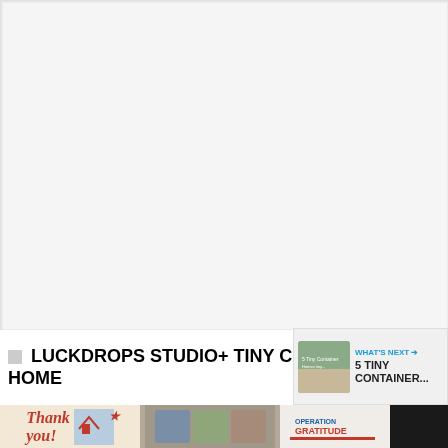[Figure (photo): Large image area - blank/loading image for a container home]
LUCKDROPS STUDIO+ TINY CONTAINER HOME
[Figure (screenshot): What's Next panel showing thumbnail of 5 Tiny Container... article with arrow]
[Figure (infographic): Like button (heart icon, blue circle), count of 1, and share button]
[Figure (photo): Advertisement banner at bottom: Thank you with star, nurses photo, Operation Gratitude logo, close button, and W degree icon]